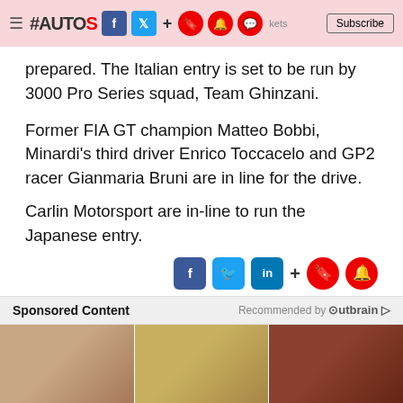#AUTOS [social icons] Subscribe
prepared. The Italian entry is set to be run by 3000 Pro Series squad, Team Ghinzani.
Former FIA GT champion Matteo Bobbi, Minardi's third driver Enrico Toccacelo and GP2 racer Gianmaria Bruni are in line for the drive.
Carlin Motorsport are in-line to run the Japanese entry.
[Figure (other): Social share icons row: Facebook, Twitter, LinkedIn, plus, bookmark, notification]
Sponsored Content   Recommended by Outbrain
[Figure (photo): Three thumbnail images: couple standing, stacks of money, racing cars on track]